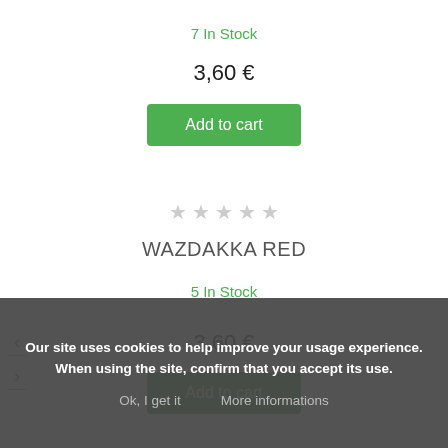7 In Stock
3,60 €
Add to cart
WAZDAKKA RED
5 In Stock
3,60 €
Add to cart
Our site uses cookies to help improve your usage experience. When using the site, confirm that you accept its use.
Ok, I get it
More informations